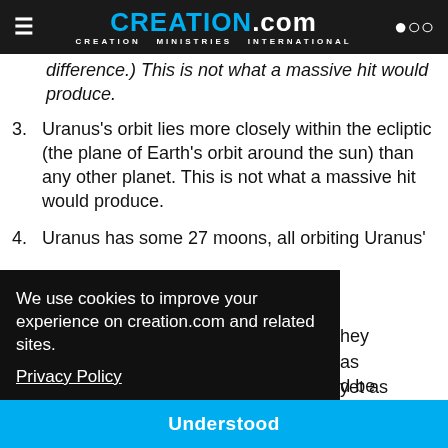CREATION.com — CREATION MINISTRIES INTERNATIONAL
difference.) This is not what a massive hit would produce.
3. Uranus's orbit lies more closely within the ecliptic (the plane of Earth's orbit around the sun) than any other planet. This is not what a massive hit would produce.
4. Uranus has some 27 moons, all orbiting Uranus' [text continues below cookie banner]
We use cookies to improve your experience on creation.com and related sites. Privacy Policy
Understood
that the moons from such an impact would be